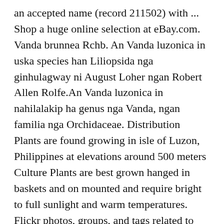an accepted name (record 211502) with ... Shop a huge online selection at eBay.com. Vanda brunnea Rchb. An Vanda luzonica in uska species han Liliopsida nga ginhulagway ni August Loher ngan Robert Allen Rolfe.An Vanda luzonica in nahilalakip ha genus nga Vanda, ngan familia nga Orchidaceae. Distribution Plants are found growing in isle of Luzon, Philippines at elevations around 500 meters Culture Plants are best grown hanged in baskets and on mounted and require bright to full sunlight and warm temperatures. Flickr photos, groups, and tags related to the "luzonica" Flickr tag. Shop great deals on Vanda Tropical Orchids. Vanda luzonica is an species in the genus Vanda. If hunged the roots must